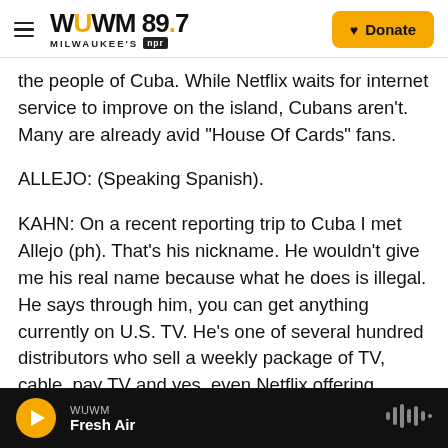WUWM 89.7 Milwaukee's NPR — Donate
the people of Cuba. While Netflix waits for internet service to improve on the island, Cubans aren't. Many are already avid "House Of Cards" fans.
ALLEJO: (Speaking Spanish).
KAHN: On a recent reporting trip to Cuba I met Allejo (ph). That's his nickname. He wouldn't give me his real name because what he does is illegal. He says through him, you can get anything currently on U.S. TV. He's one of several hundred distributors who sell a weekly package of TV, cable, pay TV and yes, even Netflix offering downloaded
WUWM — Fresh Air